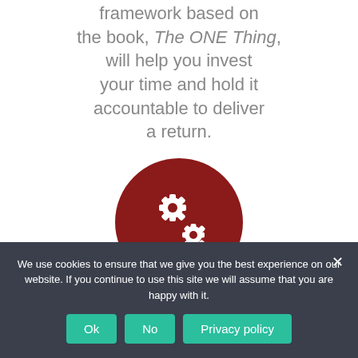framework based on the book, The ONE Thing, will help you invest your time and hold it accountable to deliver a return.
[Figure (illustration): Dark red circle containing two white gear/cog icons]
Gain Your Freedom
True freedom comes
We use cookies to ensure that we give you the best experience on our website. If you continue to use this site we will assume that you are happy with it.